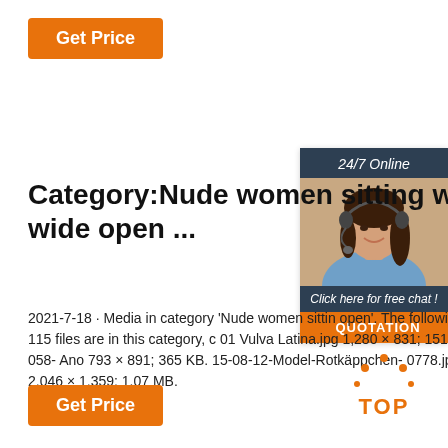[Figure (other): Orange 'Get Price' button at top left]
[Figure (other): Advertisement widget on right side with '24/7 Online' header, photo of woman with headset, 'Click here for free chat!' text, and orange QUOTATION button]
Category:Nude women sitting wi wide open ...
2021-7-18 · Media in category 'Nude women sittin open'. The following 115 files are in this category, c 01 Vulva Latina.jpg 1,280 × 831; 151 KB. 058- Ano 793 × 891; 365 KB. 15-08-12-Model-Rotkäppchen- 0778.jpg 2,046 × 1,359; 1.07 MB.
[Figure (other): Orange 'Get Price' button at bottom left]
[Figure (other): Orange TOP badge with dots at bottom right]